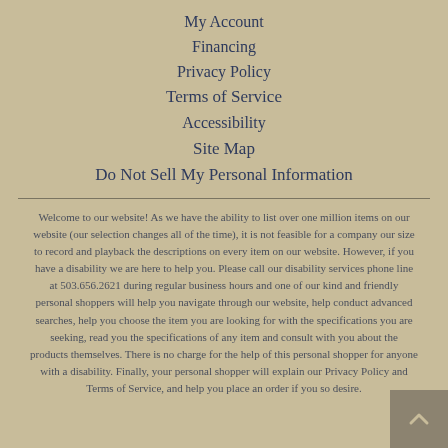My Account
Financing
Privacy Policy
Terms of Service
Accessibility
Site Map
Do Not Sell My Personal Information
Welcome to our website! As we have the ability to list over one million items on our website (our selection changes all of the time), it is not feasible for a company our size to record and playback the descriptions on every item on our website. However, if you have a disability we are here to help you. Please call our disability services phone line at 503.656.2621 during regular business hours and one of our kind and friendly personal shoppers will help you navigate through our website, help conduct advanced searches, help you choose the item you are looking for with the specifications you are seeking, read you the specifications of any item and consult with you about the products themselves. There is no charge for the help of this personal shopper for anyone with a disability. Finally, your personal shopper will explain our Privacy Policy and Terms of Service, and help you place an order if you so desire.